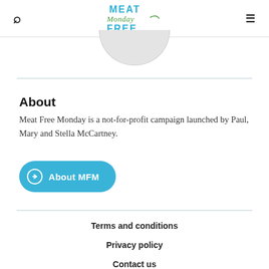[Figure (logo): Meat Free Monday logo with 'MEAT' in blue block letters, 'Monday' in green handwritten script, and 'FREE' in blue block letters]
About
Meat Free Monday is a not-for-profit campaign launched by Paul, Mary and Stella McCartney.
About MFM
Terms and conditions
Privacy policy
Contact us